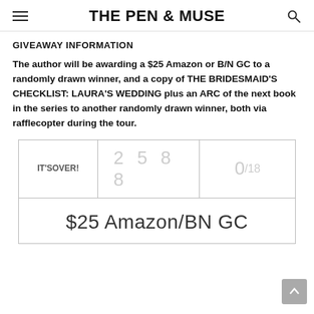THE PEN & MUSE
GIVEAWAY INFORMATION
The author will be awarding a $25 Amazon or B/N GC to a randomly drawn winner, and a copy of THE BRIDESMAID'S CHECKLIST: LAURA'S WEDDING plus an ARC of the next book in the series to another randomly drawn winner, both via rafflecopter during the tour.
[Figure (other): Rafflecopter giveaway widget showing 'IT'S OVER!' with entry count 2588, score 0/18, and prize '$25 Amazon/BN GC']